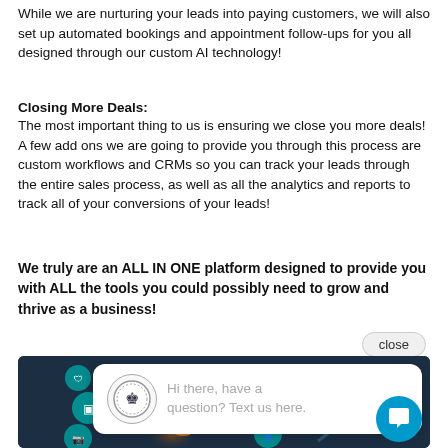While we are nurturing your leads into paying customers, we will also set up automated bookings and appointment follow-ups for you all designed through our custom AI technology!
Closing More Deals:
The most important thing to us is ensuring we close you more deals! A few add ons we are going to provide you through this process are custom workflows and CRMs so you can track your leads through the entire sales process, as well as all the analytics and reports to track all of your conversions of your leads!
We truly are an ALL IN ONE platform designed to provide you with ALL the tools you could possibly need to grow and thrive as a business!
[Figure (screenshot): A dark-themed technology image showing a glowing orb with teal icons representing various digital tools and services, overlaid with a white chat bubble widget saying 'Hi there, have a question? Text us here.' with a branded logo and a teal circular chat button in the bottom right corner. A 'close' button appears in the top right of the overlay.]